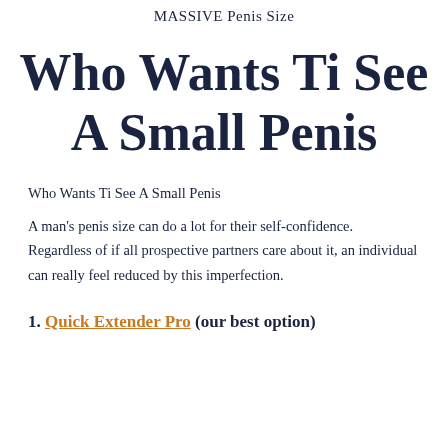MASSIVE Penis Size
Who Wants Ti See A Small Penis
Who Wants Ti See A Small Penis
A man's penis size can do a lot for their self-confidence. Regardless of if all prospective partners care about it, an individual can really feel reduced by this imperfection.
1. Quick Extender Pro (our best option)